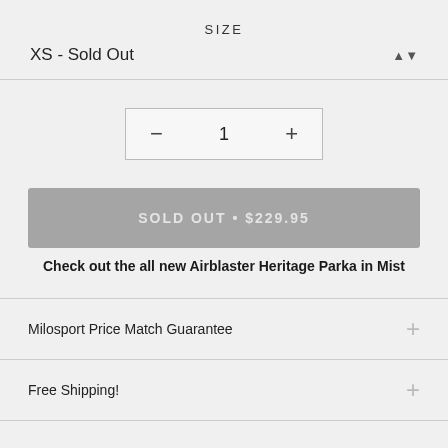SIZE
XS - Sold Out
[Figure (other): Quantity selector box with minus button, number 1, and plus button]
[Figure (other): Sold out button showing SOLD OUT • $229.95]
Check out the all new Airblaster Heritage Parka in Mist
Milosport Price Match Guarantee
Free Shipping!